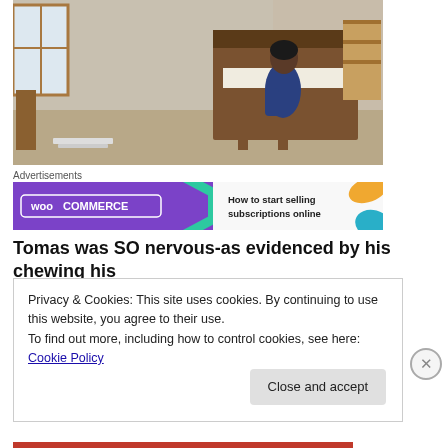[Figure (photo): Person sitting at an upright piano in a living room, viewed from behind, wearing a dark blue top, seated on a piano bench.]
Advertisements
[Figure (screenshot): WooCommerce advertisement banner: purple background on left with WooCommerce logo and green/teal arrow shape, white background on right with orange and blue accent shapes and text 'How to start selling subscriptions online'.]
Tomas was SO nervous-as evidenced by his chewing his
Privacy & Cookies: This site uses cookies. By continuing to use this website, you agree to their use.
To find out more, including how to control cookies, see here: Cookie Policy
Close and accept